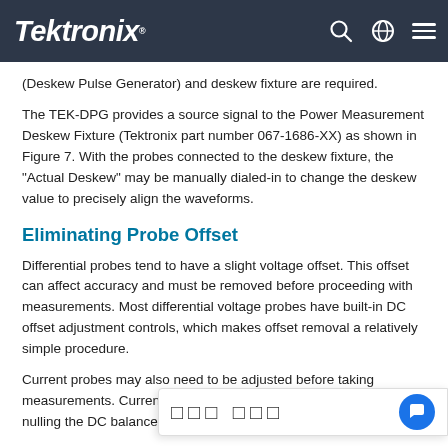Tektronix
(Deskew Pulse Generator) and deskew fixture are required.
The TEK-DPG provides a source signal to the Power Measurement Deskew Fixture (Tektronix part number 067-1686-XX) as shown in Figure 7. With the probes connected to the deskew fixture, the "Actual Deskew" may be manually dialed-in to change the deskew value to precisely align the waveforms.
Eliminating Probe Offset
Differential probes tend to have a slight voltage offset. This offset can affect accuracy and must be removed before proceeding with measurements. Most differential voltage probes have built-in DC offset adjustment controls, which makes offset removal a relatively simple procedure.
Current probes may also need to be adjusted before taking measurements. Current probes are usually adjusted by nulling the DC balance to...